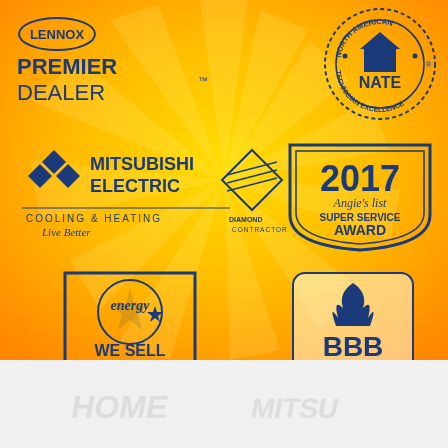[Figure (logo): Lennox Premier Dealer logo - blue text on yellow background]
[Figure (logo): NATE North American Technician Excellence circular badge logo]
[Figure (logo): Mitsubishi Electric Cooling and Heating Live Better with Diamond Contractor logo]
[Figure (logo): 2017 Angie's List Super Service Award badge]
[Figure (logo): Energy Star We Sell Energy Star logo in a box]
[Figure (logo): BBB Accredited Business logo]
[Figure (logo): Faded watermark logos at bottom white section]